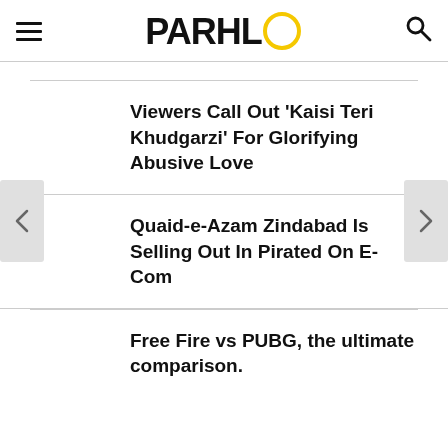PARHLO
Viewers Call Out ‘Kaisi Teri Khudgarzi’ For Glorifying Abusive Love
Quaid-e-Azam Zindabad Is Selling Out In Pirated On E-Com
Free Fire vs PUBG, the ultimate comparison.